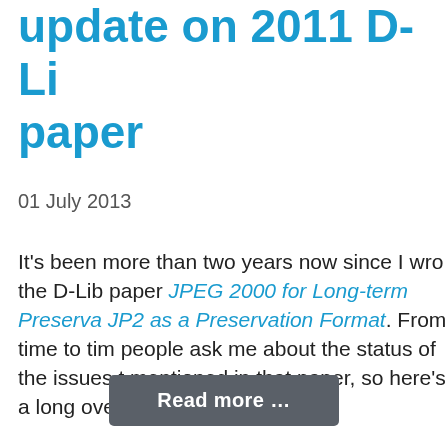update on 2011 D-Lib paper
01 July 2013
It’s been more than two years now since I wrote the D-Lib paper JPEG 2000 for Long-term Preservation: JP2 as a Preservation Format. From time to time people ask me about the status of the issues that I mentioned in that paper, so here’s a long overdue update.
Read more …